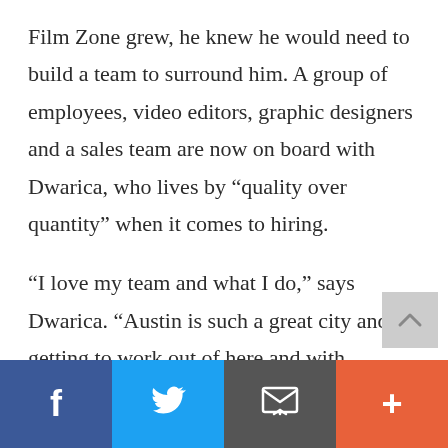Film Zone grew, he knew he would need to build a team to surround him. A group of employees, video editors, graphic designers and a sales team are now on board with Dwarica, who lives by “quality over quantity” when it comes to hiring.
“I love my team and what I do,” says Dwarica. “Austin is such a great city and getting to work out of here and with individuals from here is amazing.”
[Figure (infographic): Social share footer bar with four buttons: Facebook (blue), Twitter (light blue), Email/envelope (dark grey), Plus/add (orange-red)]